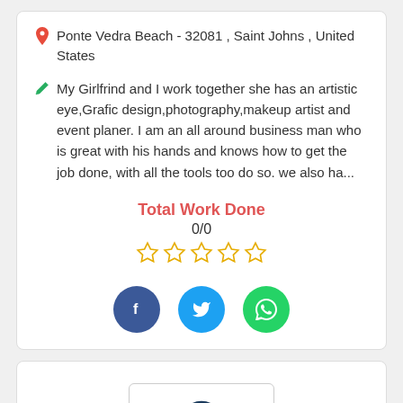📍 Ponte Vedra Beach - 32081 , Saint Johns , United States
✏️ My Girlfrind and I work together she has an artistic eye,Grafic design,photography,makeup artist and event planer. I am an all around business man who is great with his hands and knows how to get the job done, with all the tools too do so. we also ha...
Total Work Done
0/0
[Figure (other): Five empty star rating icons in gold/yellow outline]
[Figure (other): Social media icons: Facebook (dark blue circle with f), Twitter (cyan circle with bird), WhatsApp (green circle with phone)]
[Figure (other): User avatar placeholder: circle head and shoulders silhouette in dark blue outline on white background with gray border]